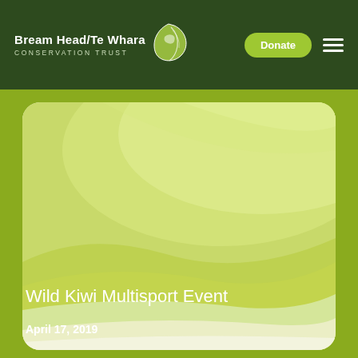Bream Head/Te Whara CONSERVATION TRUST
[Figure (illustration): Decorative card with layered green gradient waves/hills on a light green to white background, with rounded corners]
Wild Kiwi Multisport Event
April 17, 2019